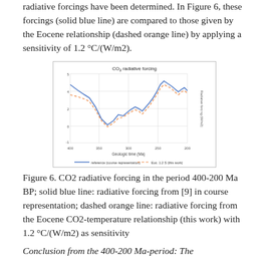radiative forcings have been determined. In Figure 6, these forcings (solid blue line) are compared to those given by the Eocene relationship (dashed orange line) by applying a sensitivity of 1.2 °C/(W/m2).
[Figure (line-chart): Line chart showing CO2 radiative forcing from 400 to 200 Ma BP. A solid blue line shows radiative forcing from reference source in course representation, and a dashed orange line shows radiative forcing from the Eocene CO2-temperature relationship with 1.2 sensitivity.]
Figure 6. CO2 radiative forcing in the period 400-200 Ma BP; solid blue line: radiative forcing from [9] in course representation; dashed orange line: radiative forcing from the Eocene CO2-temperature relationship (this work) with 1.2 °C/(W/m2) as sensitivity
Conclusion from the 400-200 Ma-period: The